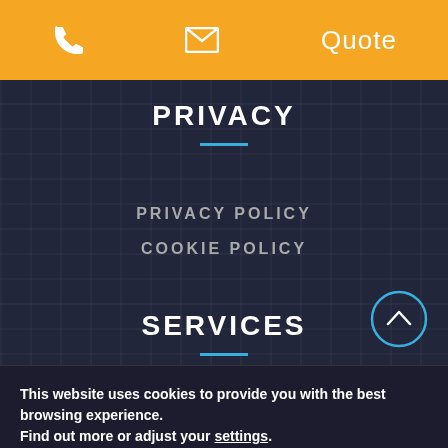Phone | Email | Quote
PRIVACY
PRIVACY POLICY
COOKIE POLICY
SERVICES
This website uses cookies to provide you with the best browsing experience.
Find out more or adjust your settings.
Accept